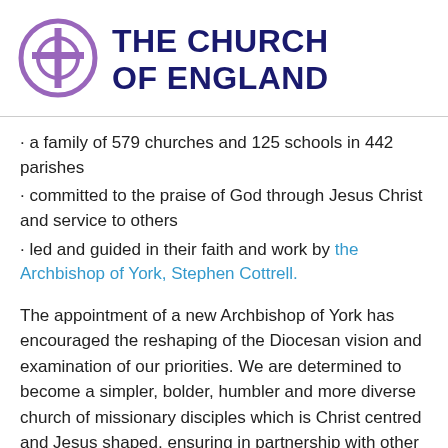[Figure (logo): The Church of England logo: a purple circle with a cross inside, next to bold dark blue text reading 'THE CHURCH OF ENGLAND']
· a family of 579 churches and 125 schools in 442 parishes
· committed to the praise of God through Jesus Christ and service to others
· led and guided in their faith and work by the Archbishop of York, Stephen Cottrell.
The appointment of a new Archbishop of York has encouraged the reshaping of the Diocesan vision and examination of our priorities. We are determined to become a simpler, bolder, humbler and more diverse church of missionary disciples which is Christ centred and Jesus shaped, ensuring in partnership with other churches that there is a Christian witness in every community. We wish to be a people who are 'Living